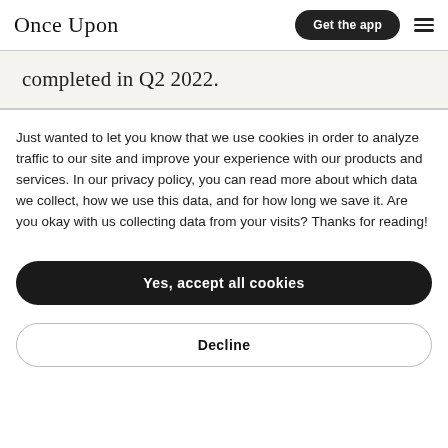Once Upon | Get the app
completed in Q2 2022.
Just wanted to let you know that we use cookies in order to analyze traffic to our site and improve your experience with our products and services. In our privacy policy, you can read more about which data we collect, how we use this data, and for how long we save it. Are you okay with us collecting data from your visits? Thanks for reading!
Yes, accept all cookies
Decline